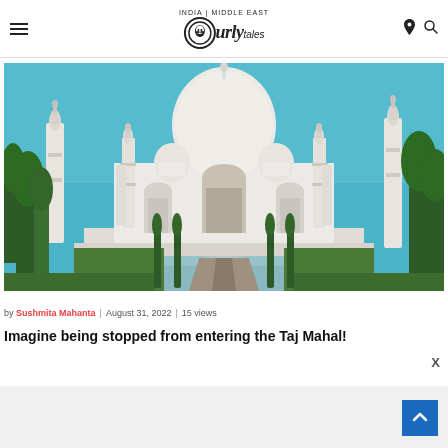Curly Tales — INDIA | MIDDLE EAST
[Figure (photo): Front view of the Taj Mahal in Agra, India, with its iconic white marble dome and four minarets, reflecting pool and symmetrical gardens in the foreground under a clear blue sky.]
by Sushmita Mahanta | August 31, 2022 | 15 views
Imagine being stopped from entering the Taj Mahal!